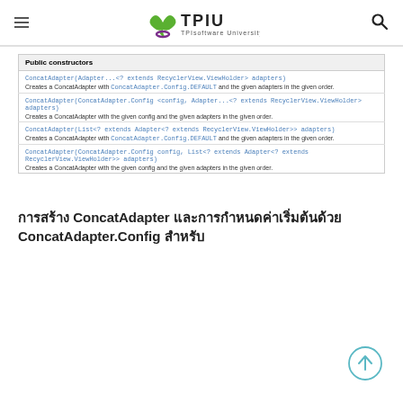TPIU TPIsoftware University
| Public constructors |
| --- |
| ConcatAdapter(Adapter...<?  extends RecyclerView.ViewHolder> adapters) | Creates a ConcatAdapter with ConcatAdapter.Config.DEFAULT and the given adapters in the given order. |
| ConcatAdapter(ConcatAdapter.Config <config, Adapter...<?  extends RecyclerView.ViewHolder> adapters) | Creates a ConcatAdapter with the given config and the given adapters in the given order. |
| ConcatAdapter(List<? extends Adapter<? extends RecyclerView.ViewHolder>> adapters) | Creates a ConcatAdapter with ConcatAdapter.Config.DEFAULT and the given adapters in the given order. |
| ConcatAdapter(ConcatAdapter.Config config, List<? extends Adapter<? extends RecyclerView.ViewHolder>> adapters) | Creates a ConcatAdapter with the given config and the given adapters in the given order. |
การสร้าง ConcatAdapter และการกำหนดค่าเริ่มต้นด้วย ConcatAdapter.Config สำหรับ